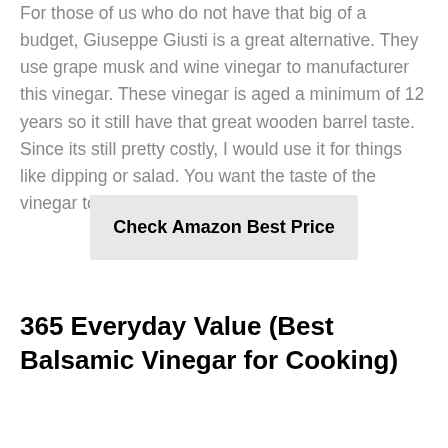For those of us who do not have that big of a budget, Giuseppe Giusti is a great alternative. They use grape musk and wine vinegar to manufacturer this vinegar. These vinegar is aged a minimum of 12 years so it still have that great wooden barrel taste. Since its still pretty costly, I would use it for things like dipping or salad. You want the taste of the vinegar to shine through.
Check Amazon Best Price
365 Everyday Value (Best Balsamic Vinegar for Cooking)